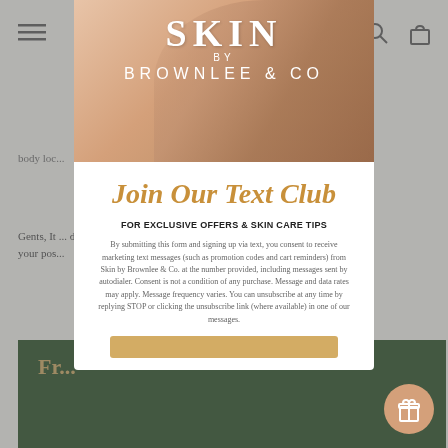[Figure (screenshot): Background website page showing body lotion product page with hamburger menu, search and bag icons, partial product description text, accordion rows, and green banner section]
[Figure (illustration): Modal popup with hero image showing a person's shoulder/arm with skin against a warm peach/tan background. SKIN BY BROWNLEE & CO logo overlaid in white text.]
Join Our Text Club
FOR EXCLUSIVE OFFERS & SKIN CARE TIPS
By submitting this form and signing up via text, you consent to receive marketing text messages (such as promotion codes and cart reminders) from Skin by Brownlee & Co. at the number provided, including messages sent by autodialer. Consent is not a condition of any purchase. Message and data rates may apply. Message frequency varies. You can unsubscribe at any time by replying STOP or clicking the unsubscribe link (where available) in one of our messages.